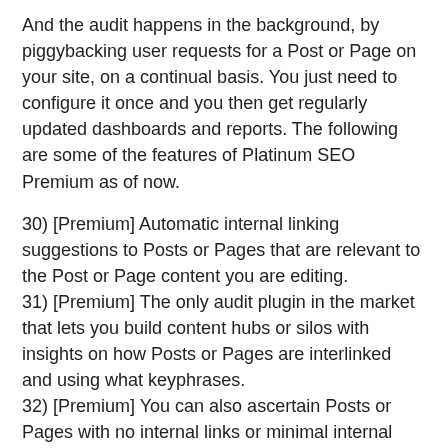And the audit happens in the background, by piggybacking user requests for a Post or Page on your site, on a continual basis. You just need to configure it once and you then get regularly updated dashboards and reports. The following are some of the features of Platinum SEO Premium as of now.
30) [Premium] Automatic internal linking suggestions to Posts or Pages that are relevant to the Post or Page content you are editing.
31) [Premium] The only audit plugin in the market that lets you build content hubs or silos with insights on how Posts or Pages are interlinked and using what keyphrases.
32) [Premium] You can also ascertain Posts or Pages with no internal links or minimal internal links and find opportuites to build more internal links with aprropriate keyphrases.
33) [Premium] You can monitor all links (both internal and external links) embedded in your